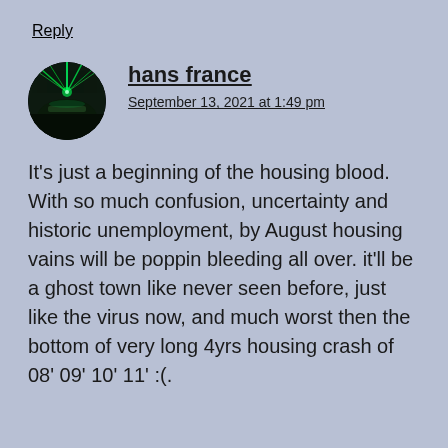Reply
hans france
September 13, 2021 at 1:49 pm
It's just a beginning of the housing blood. With so much confusion, uncertainty and historic unemployment, by August housing vains will be poppin bleeding all over. it'll be a ghost town like never seen before, just like the virus now, and much worst then the bottom of very long 4yrs housing crash of 08' 09' 10' 11' :(.